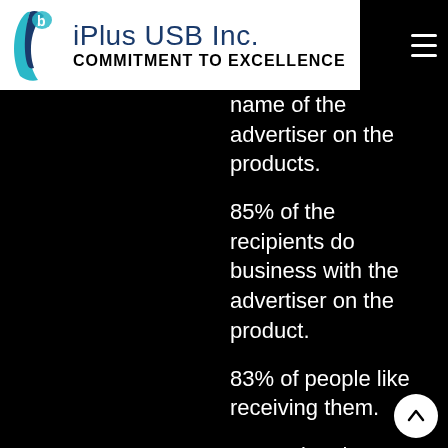iPlus USB Inc. — COMMITMENT TO EXCELLENCE
name of the advertiser on the products.
85% of the recipients do business with the advertiser on the product.
83% of people like receiving them.
Promotional Products